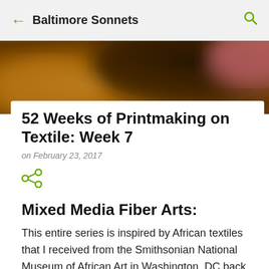Baltimore Sonnets
[Figure (photo): Abstract blurred photo with warm golden-orange, dark brown, and pink tones, used as hero/banner image for the blog post.]
52 Weeks of Printmaking on Textile: Week 7
on February 23, 2017
Mixed Media Fiber Arts:
This entire series is inspired by African textiles that I received from the Smithsonian National Museum of African Art in Washington, DC back in